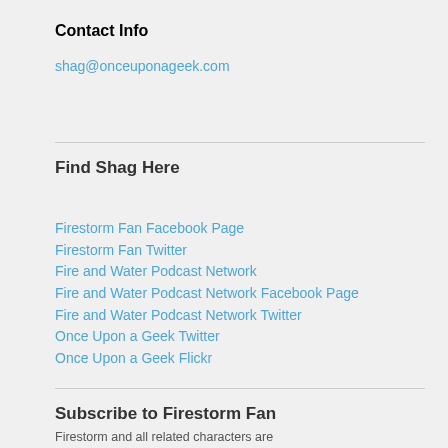Contact Info
shag@onceuponageek.com
Find Shag Here
Firestorm Fan Facebook Page
Firestorm Fan Twitter
Fire and Water Podcast Network
Fire and Water Podcast Network Facebook Page
Fire and Water Podcast Network Twitter
Once Upon a Geek Twitter
Once Upon a Geek Flickr
Subscribe to Firestorm Fan
RSS Feed
Email
Facebook
Twitter
Firestorm and all related characters are